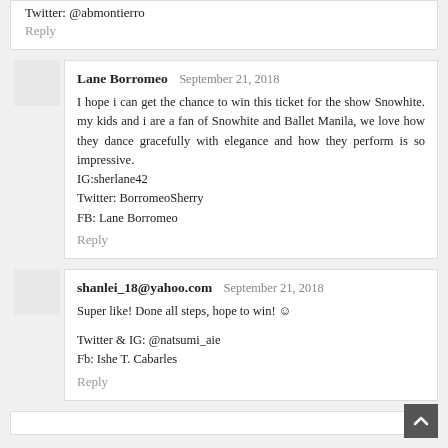Twitter: @abmontierro
Reply
Lane Borromeo  September 21, 2018
I hope i can get the chance to win this ticket for the show Snowhite. my kids and i are a fan of Snowhite and Ballet Manila, we love how they dance gracefully with elegance and how they perform is so impressive.
IG:sherlane42
Twitter: BorromeoSherry
FB: Lane Borromeo
Reply
shanlei_18@yahoo.com  September 21, 2018
Super like! Done all steps, hope to win! ☺

Twitter & IG: @natsumi_aie
Fb: Ishe T. Cabarles
Reply